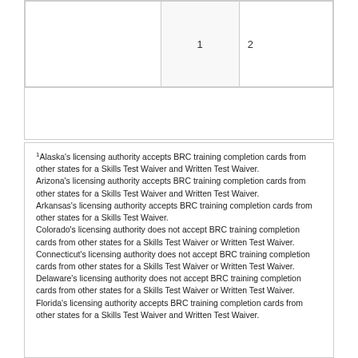|  | 1 | 2 |
1Alaska's licensing authority accepts BRC training completion cards from other states for a Skills Test Waiver and Written Test Waiver.
Arizona's licensing authority accepts BRC training completion cards from other states for a Skills Test Waiver and Written Test Waiver.
Arkansas's licensing authority accepts BRC training completion cards from other states for a Skills Test Waiver.
Colorado's licensing authority does not accept BRC training completion cards from other states for a Skills Test Waiver or Written Test Waiver.
Connecticut's licensing authority does not accept BRC training completion cards from other states for a Skills Test Waiver or Written Test Waiver.
Delaware's licensing authority does not accept BRC training completion cards from other states for a Skills Test Waiver or Written Test Waiver.
Florida's licensing authority accepts BRC training completion cards from other states for a Skills Test Waiver and Written Test Waiver.